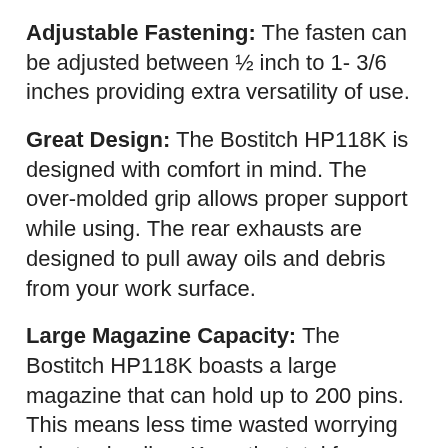Adjustable Fastening: The fasten can be adjusted between ½ inch to 1- 3/6 inches providing extra versatility of use.
Great Design: The Bostitch HP118K is designed with comfort in mind. The over-molded grip allows proper support while using. The rear exhausts are designed to pull away oils and debris from your work surface.
Large Magazine Capacity: The Bostitch HP118K boasts a large magazine that can hold up to 200 pins. This means less time wasted worrying about reloading. Keep the total focus on your project.
Dual Trigger Safety: I am quite amazed